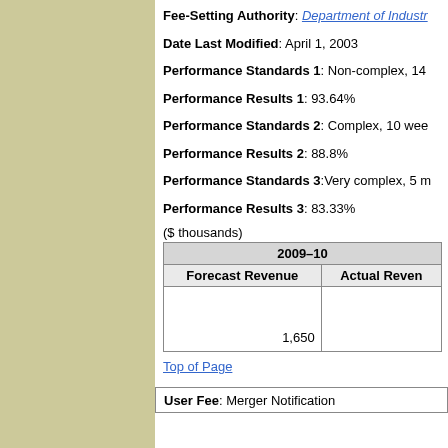Fee-Setting Authority: Department of Industry
Date Last Modified: April 1, 2003
Performance Standards 1: Non-complex, 14
Performance Results 1: 93.64%
Performance Standards 2: Complex, 10 wee
Performance Results 2: 88.8%
Performance Standards 3: Very complex, 5 m
Performance Results 3: 83.33%
($ thousands)
| 2009–10 |  |
| --- | --- |
| Forecast Revenue | Actual Reven |
| 1,650 |  |
Top of Page
User Fee: Merger Notification